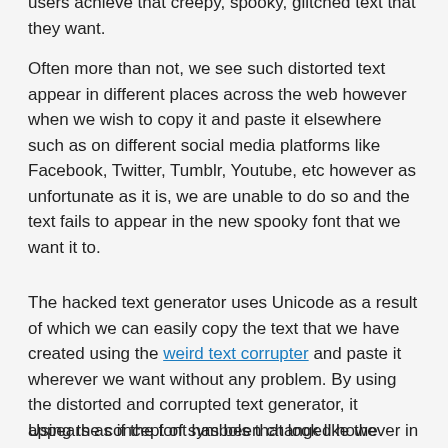users achieve that creepy, spooky, glitched text that they want.
Often more than not, we see such distorted text appear in different places across the web however when we wish to copy it and paste it elsewhere such as on different social media platforms like Facebook, Twitter, Tumblr, Youtube, etc however as unfortunate as it is, we are unable to do so and the text fails to appear in the new spooky font that we want it to.
The hacked text generator uses Unicode as a result of which we can easily copy the text that we have created using the weird text corrupter and paste it wherever we want without any problem. By using the distorted and corrupted text generator, it appears as if the font has been changed however in actuality, this is not the case at all.
Using the concept of symbols that look like the original...